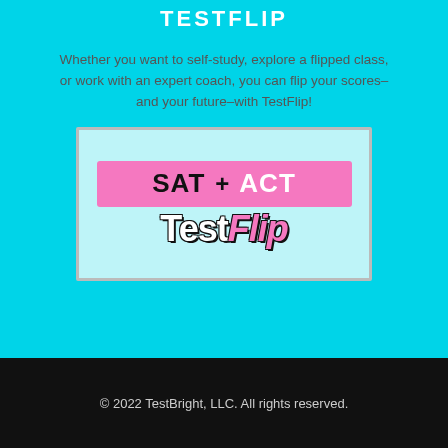TESTFLIP
Whether you want to self-study, explore a flipped class, or work with an expert coach, you can flip your scores–and your future–with TestFlip!
[Figure (logo): TestFlip logo with pink bar showing 'SAT + ACT' and stylized 'TestFlip' text below on light blue background]
© 2022 TestBright, LLC. All rights reserved.